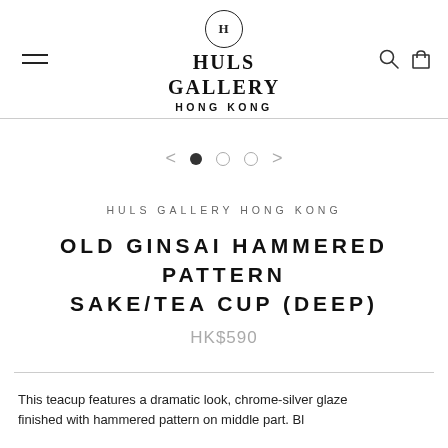HULS GALLERY HONG KONG
[Figure (logo): Huls Gallery Hong Kong logo with circular H monogram and serif text]
< • ○ ○ >
HULS GALLERY HONG KONG
OLD GINSAI HAMMERED PATTERN SAKE/TEA CUP (DEEP)
HK$590
This teacup features a dramatic look, chrome-silver glaze finished with hammered pattern on middle part. Bl...